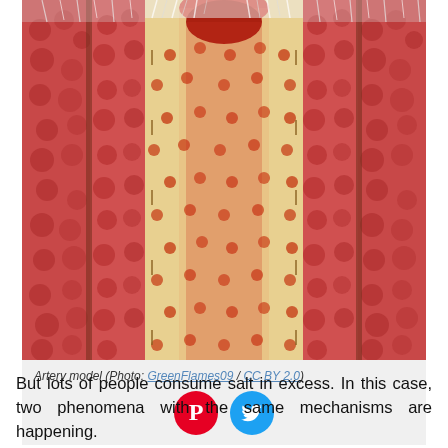[Figure (photo): Cross-sectional model of an artery showing layered walls with red cellular tissue, a beige/cream middle muscular layer with orange dots, and a hollow central lumen colored red at the top. The model appears to be a physical 3D educational replica photographed from above.]
Artery model (Photo: GreenFlames09 / CC BY 2.0)
But lots of people consume salt in excess. In this case, two phenomena with the same mechanisms are happening.